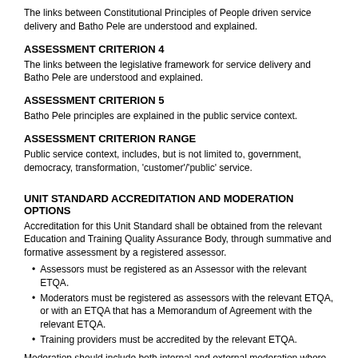The links between Constitutional Principles of People driven service delivery and Batho Pele are understood and explained.
ASSESSMENT CRITERION 4
The links between the legislative framework for service delivery and Batho Pele are understood and explained.
ASSESSMENT CRITERION 5
Batho Pele principles are explained in the public service context.
ASSESSMENT CRITERION RANGE
Public service context, includes, but is not limited to, government, democracy, transformation, 'customer'/'public' service.
UNIT STANDARD ACCREDITATION AND MODERATION OPTIONS
Accreditation for this Unit Standard shall be obtained from the relevant Education and Training Quality Assurance Body, through summative and formative assessment by a registered assessor.
Assessors must be registered as an Assessor with the relevant ETQA.
Moderators must be registered as assessors with the relevant ETQA, or with an ETQA that has a Memorandum of Agreement with the relevant ETQA.
Training providers must be accredited by the relevant ETQA.
Moderation should include both internal and external moderation where applicable.
UNIT STANDARD ESSENTIAL EMBEDDED KNOWLEDGE